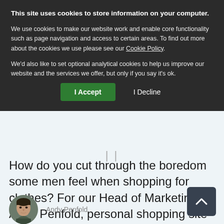This site uses cookies to store information on your computer.
We use cookies to make our website work and enable core functionality such as page navigation and access to certain areas. To find out more about the cookies we use please see our Cookie Policy.
We'd also like to set optional analytical cookies to help us improve our website and the services we offer, but only if you say it's ok.
I Accept | I Decline
How do you cut through the boredom some men feel when shopping for clothes? For our Head of Marketing Andy Penfold, personal shopping site Thread.com has a few ideas...
[Figure (photo): Circular avatar photo of Andy Penfold, a man in dark clothing]
Andy Penfold